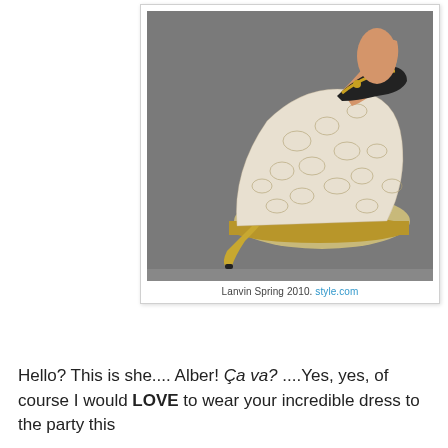[Figure (photo): Close-up photograph of a Lanvin Spring 2010 high-heel shoe — white/cream lace patterned pump with a gold stiletto heel, gold platform sole, and a black ankle strap with gold chain and jewel embellishments. Shot against a grey background.]
Lanvin Spring 2010. style.com
Hello? This is she.... Alber! Ça va? ....Yes, yes, of course I would LOVE to wear your incredible dress to the party this